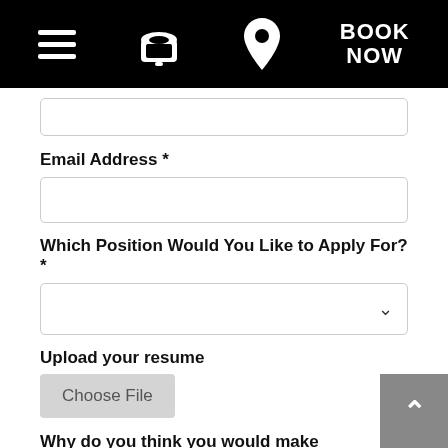[Figure (screenshot): Navigation bar with hamburger menu icon, phone icon, location pin icon, and BOOK NOW text on black background]
(partial input field — top of email/name field cut off)
Email Address *
(empty email address input field)
Which Position Would You Like to Apply For? *
(dropdown select field)
Upload your resume
Choose File
Why do you think you would make a great candidate for this job? *
(empty textarea field)